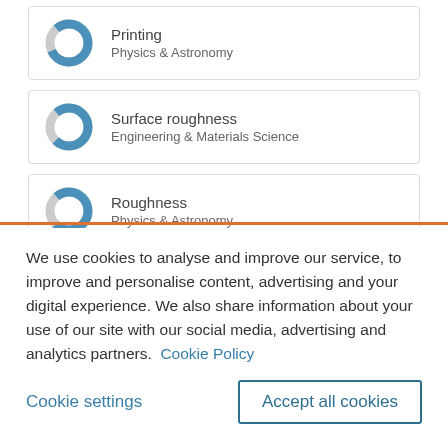Printing / Physics & Astronomy
Surface roughness / Engineering & Materials Science
Roughness / Physics & Astronomy
We use cookies to analyse and improve our service, to improve and personalise content, advertising and your digital experience. We also share information about your use of our site with our social media, advertising and analytics partners.  Cookie Policy
Cookie settings
Accept all cookies